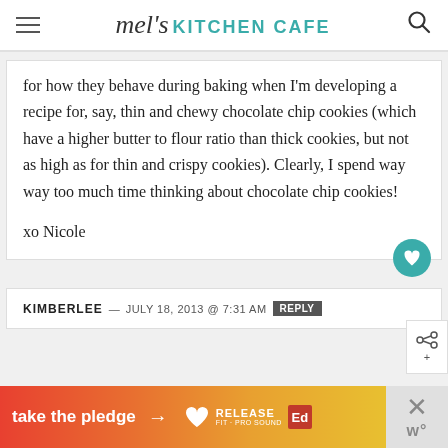mel's KITCHEN CAFE
for how they behave during baking when I'm developing a recipe for, say, thin and chewy chocolate chip cookies (which have a higher butter to flour ratio than thick cookies, but not as high as for thin and crispy cookies). Clearly, I spend way way too much time thinking about chocolate chip cookies!

xo Nicole
KIMBERLEE — JULY 18, 2013 @ 7:31 AM REPLY
[Figure (infographic): Orange/red gradient advertisement banner reading 'take the pledge' with arrow, Release logo, and Ed logo. Close button with X on right side.]